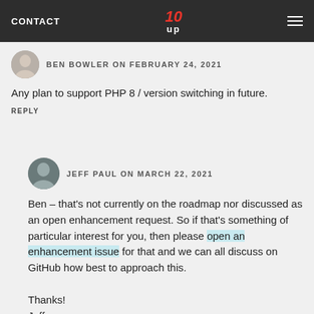CONTACT | 10up logo | hamburger menu
BEN BOWLER on FEBRUARY 24, 2021
Any plan to support PHP 8 / version switching in future.
REPLY
JEFF PAUL on MARCH 22, 2021
Ben – that's not currently on the roadmap nor discussed as an open enhancement request. So if that's something of particular interest for you, then please open an enhancement issue for that and we can all discuss on GitHub how best to approach this.

Thanks!
Jeff.